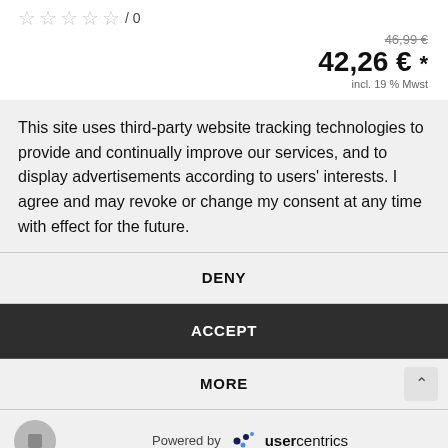☆ ☆ ☆ ☆ ☆ / 0
46,99 €
42,26 € *
incl. 19 % Mwst
This site uses third-party website tracking technologies to provide and continually improve our services, and to display advertisements according to users' interests. I agree and may revoke or change my consent at any time with effect for the future.
DENY
ACCEPT
MORE
Powered by usercentrics